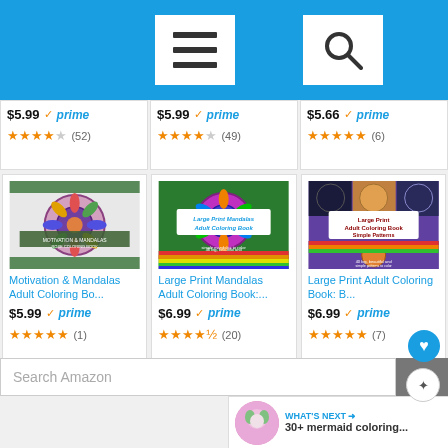[Figure (screenshot): Amazon mobile app header with hamburger menu and search icon on blue background]
$5.99 ✓prime ★★★★☆ (52)
$5.99 ✓prime ★★★★☆ (49)
$5.66 ✓prime ★★★★★ (6)
[Figure (illustration): Book cover: Motivation & Mandalas Adult Coloring Book]
[Figure (illustration): Book cover: Large Print Mandalas Adult Coloring Book]
[Figure (illustration): Book cover: Large Print Adult Coloring Book Simple Patterns]
Motivation & Mandalas Adult Coloring Bo...
Large Print Mandalas Adult Coloring Book:...
Large Print Adult Coloring Book: B...
$5.99 ✓prime ★★★★★ (1)
$6.99 ✓prime ★★★★½ (20)
$6.99 ✓prime ★★★★★ (7)
Search Amazon
WHAT'S NEXT → 30+ mermaid coloring...